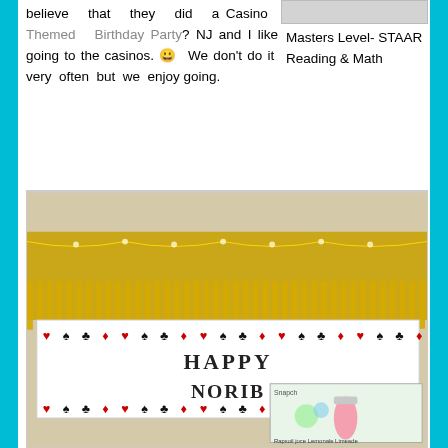believe that they did a Casino Themed Birthday Party? NJ and I like going to the casinos. 😀 We don't do it very often but we enjoy going.
Masters Level- STAAR Reading & Math
Congratulations, K! You are in 5th Grade. K got recognized for Best Writer.
top
[Figure (photo): Casino themed birthday party decoration photo showing a 'HAPPY BIRTHDAY' banner with playing card suit symbols (hearts, spades, clubs, diamonds) on a gold fringe background. Small inset image showing an Snapple drink advertisement.]